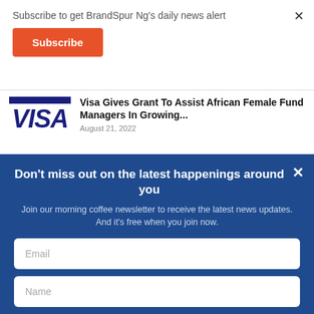Subscribe to get BrandSpur Ng's daily news alert
Subscribe
[Figure (logo): Visa logo with blue bar and blue italic VISA text]
Visa Gives Grant To Assist African Female Fund Managers In Growing...
August 21, 2022
Don't miss out on the latest happenings around you
Join our morning coffee newsletter to receive the latest news updates. And it's free when you join now.
Email
Name
JOIN NOW